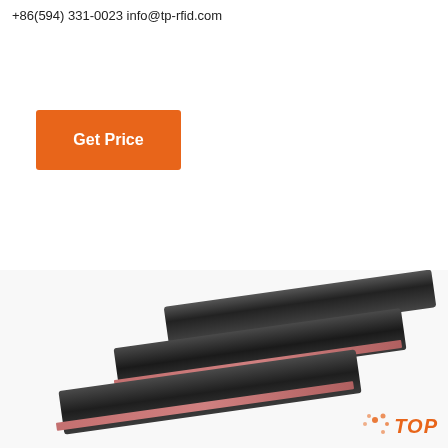+86(594) 331-0023 info@tp-rfid.com
Get Price
[Figure (photo): Customer service representative widget showing '24/7 Online', a woman with headset, 'Click here for free chat!' and 'QUOTATION' button]
[Figure (photo): Product photo showing multiple black RFID antenna bars/panels arranged diagonally on white background, with TP logo in bottom right corner]